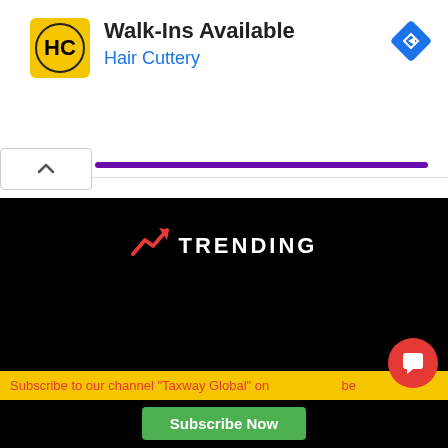[Figure (screenshot): Advertisement banner for Hair Cuttery with logo, title 'Walk-Ins Available', subtitle 'Hair Cuttery', navigation diamond icon, purple progress bar, and collapse button]
[Figure (screenshot): Social media icons: headphone icon (blue circle) and Facebook icon (dark blue circle) with red badge showing '2']
[Figure (screenshot): Trending section on black background with trending arrow icon, 'TRENDING' text, red circle numbered '1', article title 'Section 17(5) of CGST ACT, 2017', yellow subscribe bar, green Subscribe Now button, and red comment FAB button]